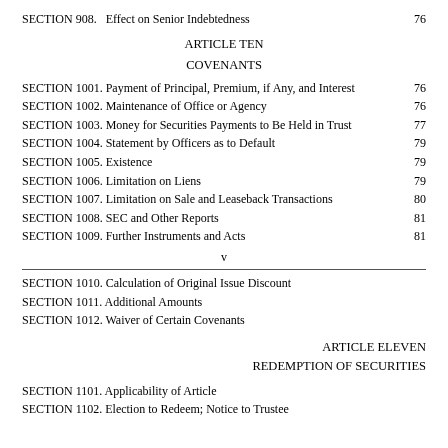SECTION 908. Effect on Senior Indebtedness  76
ARTICLE TEN
COVENANTS
SECTION 1001. Payment of Principal, Premium, if Any, and Interest  76
SECTION 1002. Maintenance of Office or Agency  76
SECTION 1003. Money for Securities Payments to Be Held in Trust  77
SECTION 1004. Statement by Officers as to Default  79
SECTION 1005. Existence  79
SECTION 1006. Limitation on Liens  79
SECTION 1007. Limitation on Sale and Leaseback Transactions  80
SECTION 1008. SEC and Other Reports  81
SECTION 1009. Further Instruments and Acts  81
v
SECTION 1010. Calculation of Original Issue Discount
SECTION 1011. Additional Amounts
SECTION 1012. Waiver of Certain Covenants
ARTICLE ELEVEN
REDEMPTION OF SECURITIES
SECTION 1101. Applicability of Article
SECTION 1102. Election to Redeem; Notice to Trustee